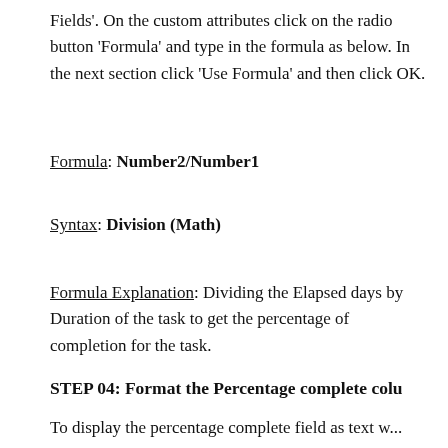Fields'. On the custom attributes click on the radio button 'Formula' and type in the formula as below. In the next section click 'Use Formula' and then click OK.
Formula: Number2/Number1
Syntax: Division (Math)
Formula Explanation: Dividing the Elapsed days by Duration of the task to get the percentage of completion for the task.
STEP 04: Format the Percentage complete colu
To display the percentage complete field as text w...